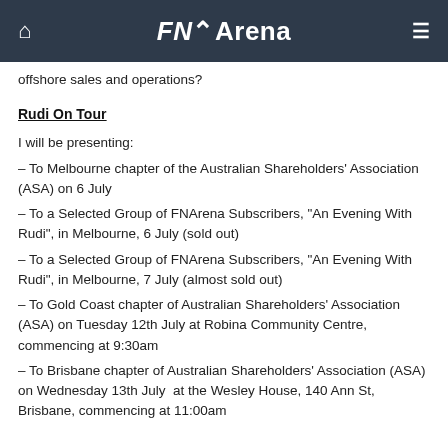FNArena
offshore sales and operations?
Rudi On Tour
I will be presenting:
– To Melbourne chapter of the Australian Shareholders' Association (ASA) on 6 July
– To a Selected Group of FNArena Subscribers, "An Evening With Rudi", in Melbourne, 6 July (sold out)
– To a Selected Group of FNArena Subscribers, "An Evening With Rudi", in Melbourne, 7 July (almost sold out)
– To Gold Coast chapter of Australian Shareholders' Association (ASA) on Tuesday 12th July at Robina Community Centre, commencing at 9:30am
– To Brisbane chapter of Australian Shareholders' Association (ASA) on Wednesday 13th July at the Wesley House, 140 Ann St, Brisbane, commencing at 11:00am